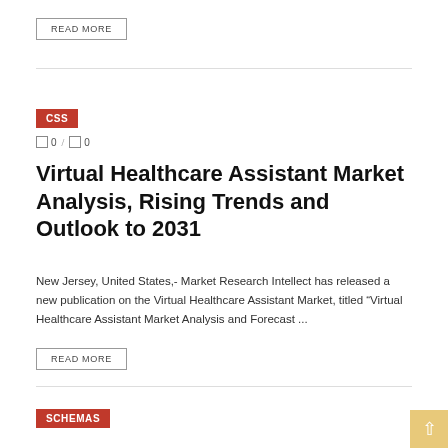READ MORE
CSS
0 / 0
Virtual Healthcare Assistant Market Analysis, Rising Trends and Outlook to 2031
New Jersey, United States,- Market Research Intellect has released a new publication on the Virtual Healthcare Assistant Market, titled “Virtual Healthcare Assistant Market Analysis and Forecast ...
READ MORE
SCHEMAS